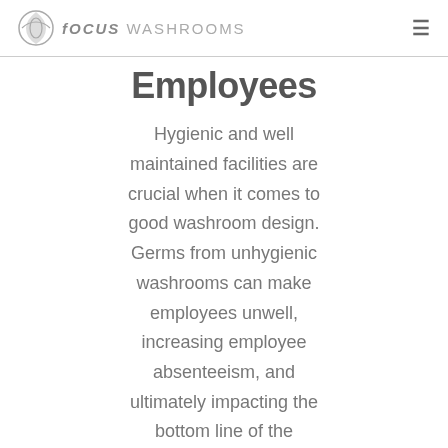fOCUS WASHROOMS
Employees
Hygienic and well maintained facilities are crucial when it comes to good washroom design. Germs from unhygienic washrooms can make employees unwell, increasing employee absenteeism, and ultimately impacting the bottom line of the